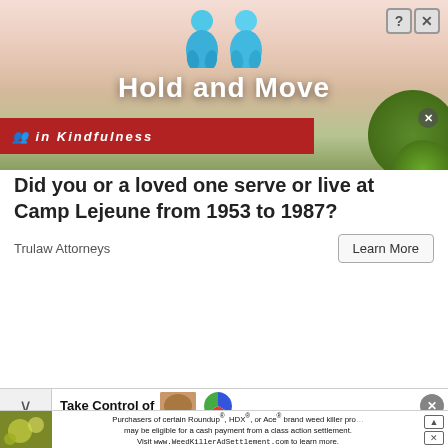[Figure (screenshot): Top advertisement banner showing 'Hold and Move' app with two blue figures and colorful striped landscape background. Has close (X) and help (?) buttons in top right.]
Did you or a loved one serve or live at Camp Lejeune from 1953 to 1987?
Trulaw Attorneys
Learn More
[Figure (screenshot): Second advertisement showing a hand holding a phone with a red pill-shaped button reading 'Help Palmer']
Take Control of
Purchasers of certain Roundup®, HDX®, or Ace® brand weed killer products may be eligible for a cash payment from a class action settlement. Visit www.WeedKillerAdSettlement.com to learn more.